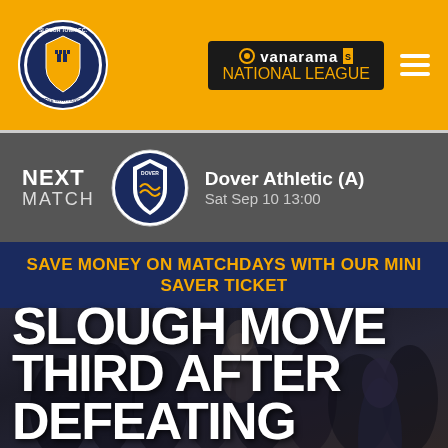[Figure (logo): Slough Town FC crest logo in circular badge]
[Figure (logo): Vanarama National League badge/logo in dark background]
NEXT MATCH
[Figure (logo): Dover Athletic FC crest logo]
Dover Athletic (A)
Sat Sep 10 13:00
SAVE MONEY ON MATCHDAYS WITH OUR MINI SAVER TICKET
[Figure (photo): Dark photo of celebrating football players and crowd in background]
SLOUGH MOVE THIRD AFTER DEFEATING